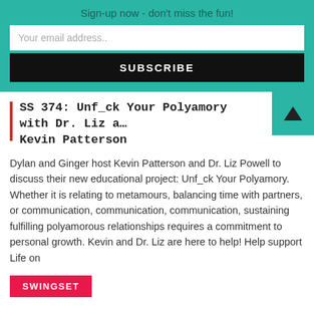Sign-up now - don't miss the fun!
Your email address..
SUBSCRIBE
SS 374: Unf_ck Your Polyamory with Dr. Liz and Kevin Patterson
Dylan and Ginger host Kevin Patterson and Dr. Liz Powell to discuss their new educational project: Unf_ck Your Polyamory. Whether it is relating to metamours, balancing time with partners, or communication, communication, communication, sustaining fulfilling polyamorous relationships requires a commitment to personal growth. Kevin and Dr. Liz are here to help! Help support Life on
SWINGSET